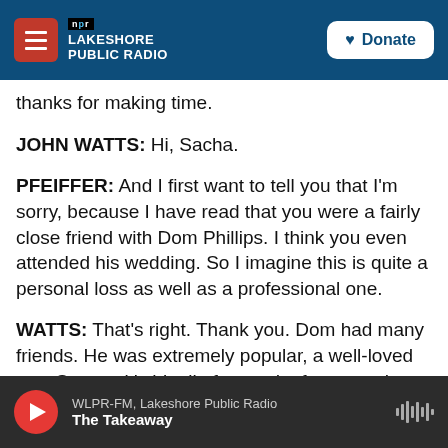NPR | Lakeshore Public Radio | Donate
thanks for making time.
JOHN WATTS: Hi, Sacha.
PFEIFFER: And I first want to tell you that I'm sorry, because I have read that you were a fairly close friend with Dom Phillips. I think you even attended his wedding. So I imagine this is quite a personal loss as well as a professional one.
WATTS: That's right. Thank you. Dom had many friends. He was extremely popular, a well-loved guy. So yes, it's hit all of us and, of course, the family very hard.
WLPR-FM, Lakeshore Public Radio | The Takeaway